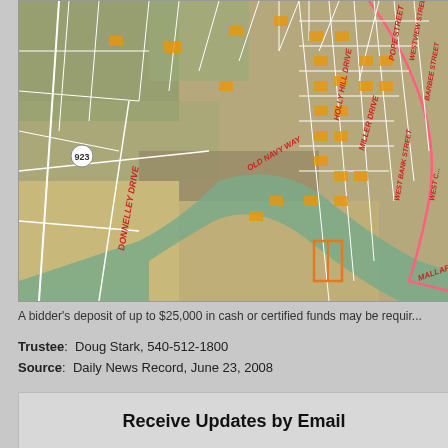[Figure (map): Aerial/satellite map showing property parcels with white boundary lines, street labels in red (OLD NAVY WAY, HOLLY HILL DRIVE, MILLER DRIVE, DONNELLEY DRIVE, POPE STREET, WESTVIEW STREET, WEST BANK STREET, MALLARD), a pink/red boundary line, orange highlighted parcels, a route marker (923), and a river/waterway visible.]
A bidder's deposit of up to $25,000 in cash or certified funds may be requir...
Trustee:  Doug Stark, 540-512-1800
Source:  Daily News Record, June 23, 2008
Receive Updates by Email